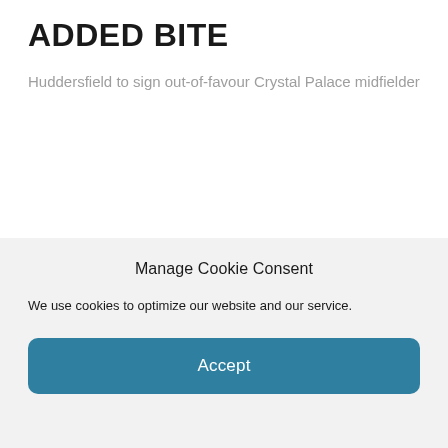ADDED BITE
Huddersfield to sign out-of-favour Crystal Palace midfielder
STATEMENT
Manage Cookie Consent
We use cookies to optimize our website and our service.
Accept